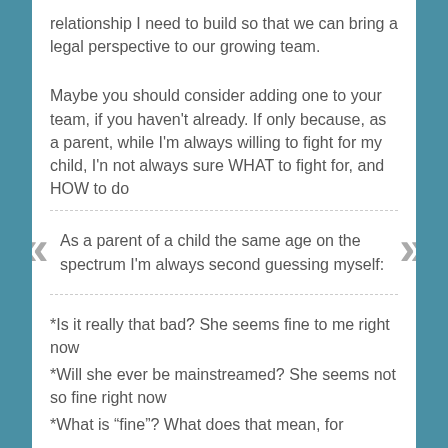relationship I need to build so that we can bring a legal perspective to our growing team.
Maybe you should consider adding one to your team, if you haven't already. If only because, as a parent, while I'm always willing to fight for my child, I'n not always sure WHAT to fight for, and HOW to do
As a parent of a child the same age on the spectrum I'm always second guessing myself:
*Is it really that bad? She seems fine to me right now
*Will she ever be mainstreamed? She seems not so fine right now
*What is “fine”? What does that mean, for